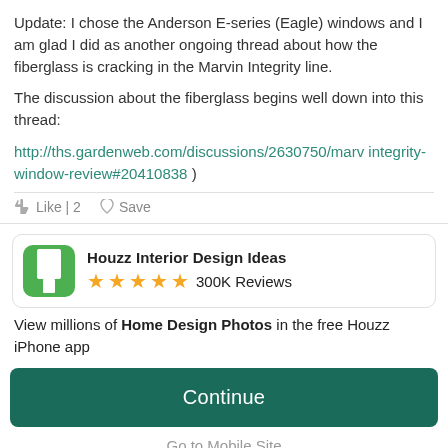Update: I chose the Anderson E-series (Eagle) windows and I am glad I did as another ongoing thread about how the fiberglass is cracking in the Marvin Integrity line.
The discussion about the fiberglass begins well down into this thread:
http://ths.gardenweb.com/discussions/2630750/marv integrity-window-review#20410838 )
Like | 2   Save
Houzz Interior Design Ideas ★★★★★ 300K Reviews
View millions of Home Design Photos in the free Houzz iPhone app
Continue
Go to Mobile Site